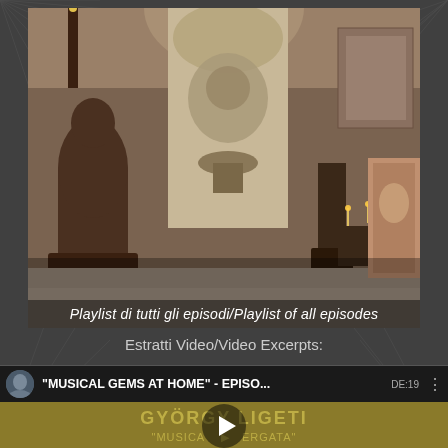[Figure (photo): Interior room photo showing antique bronze sculptures, candelabras, decorative fountain wall relief, paintings and artwork displayed in an ornate setting with brick walls and classical artworks]
Playlist di tutti gli episodi/Playlist of all episodes
Estratti Video/Video Excerpts:
[Figure (screenshot): YouTube video card showing 'MUSICAL GEMS AT HOME' - EPISO... with a channel avatar, video menu dots, and thumbnail showing György Ligeti composer name in gold text on an olive/gold background with a play button overlay and partial text 'MUSICA...ERGATA?' at bottom]